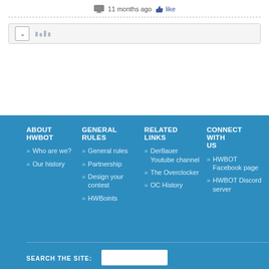11 months ago  like
[Figure (screenshot): Dropdown/filter UI element with collapse arrow and horizontal bars]
ABOUT HWBOT
Who are we?
Our history
GENERAL RULES
General rules
Partnership
Design your contest
HWBoints
RELATED LINKS
Der8auer Youtube channel
The Overclocker
OC History
CONNECT WITH US
HWBOT Facebook page
HWBOT Discord server
SEARCH THE SITE: